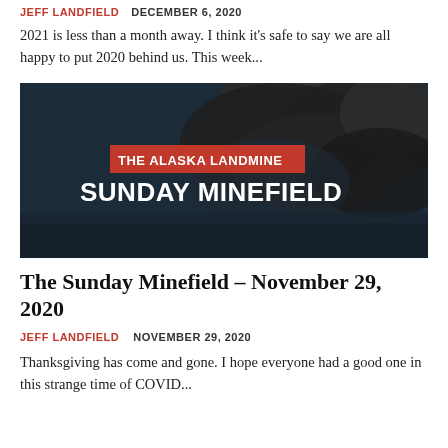JEFF LANDFIELD   DECEMBER 6, 2020
2021 is less than a month away. I think it's safe to say we are all happy to put 2020 behind us. This week...
[Figure (photo): The Alaska Landmine Sunday Minefield banner image with dark smoky explosion cloud background, red banner with white text 'THE ALASKA LANDMINE' and large bold white text 'SUNDAY MINEFIELD']
The Sunday Minefield – November 29, 2020
JEFF LANDFIELD   NOVEMBER 29, 2020
Thanksgiving has come and gone. I hope everyone had a good one in this strange time of COVID...